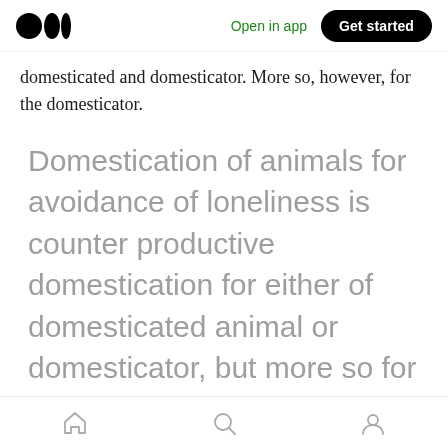Open in app | Get started
domesticated and domesticator. More so, however, for the domesticator.
Domestication of animals for avoidance of loneliness is counter productive domestication for either of domesticated animal or domesticator, but more so for the domesticator.